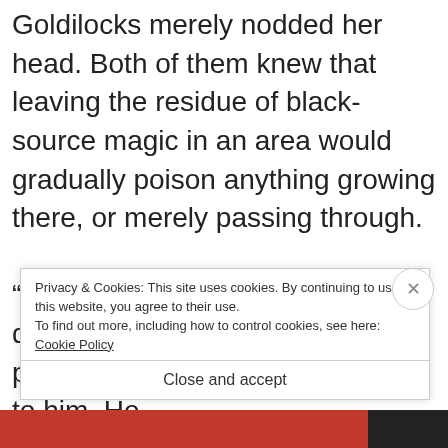Goldilocks merely nodded her head. Both of them knew that leaving the residue of black-source magic in an area would gradually poison anything growing there, or merely passing through.

“Lord, assist us in cleansing this darkness.” Cuthbert reached for power, and the light was available to him. He
Privacy & Cookies: This site uses cookies. By continuing to use this website, you agree to their use.
To find out more, including how to control cookies, see here:
Cookie Policy
Close and accept